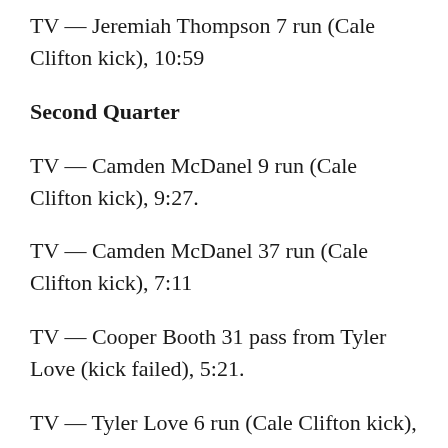TV — Jeremiah Thompson 7 run (Cale Clifton kick), 10:59
Second Quarter
TV — Camden McDanel 9 run (Cale Clifton kick), 9:27.
TV — Camden McDanel 37 run (Cale Clifton kick), 7:11
TV — Cooper Booth 31 pass from Tyler Love (kick failed), 5:21.
TV — Tyler Love 6 run (Cale Clifton kick), 5:14.